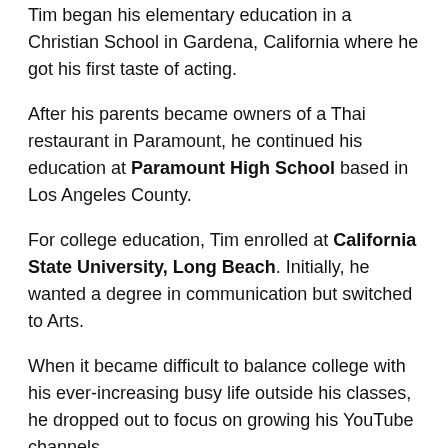Tim began his elementary education in a Christian School in Gardena, California where he got his first taste of acting.
After his parents became owners of a Thai restaurant in Paramount, he continued his education at Paramount High School based in Los Angeles County.
For college education, Tim enrolled at California State University, Long Beach. Initially, he wanted a degree in communication but switched to Arts.
When it became difficult to balance college with his ever-increasing busy life outside his classes, he dropped out to focus on growing his YouTube channels.
Occupation
Rapper, Actor, Comedian, YouTuber, Screenplay Writer